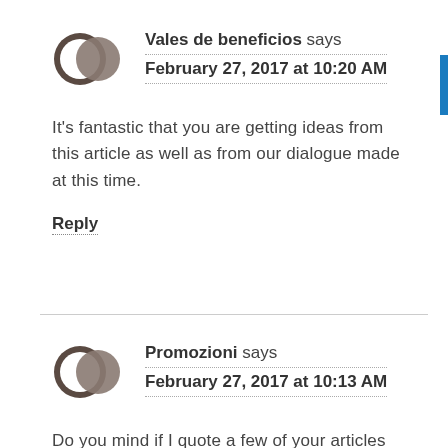Vales de beneficios says
February 27, 2017 at 10:20 AM
It's fantastic that you are getting ideas from this article as well as from our dialogue made at this time.
Reply
Promozioni says
February 27, 2017 at 10:13 AM
Do you mind if I quote a few of your articles as long as I